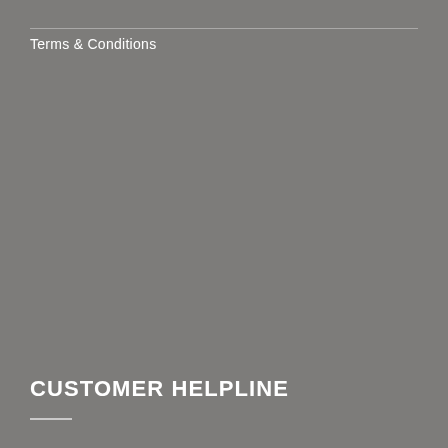Terms & Conditions
CUSTOMER HELPLINE